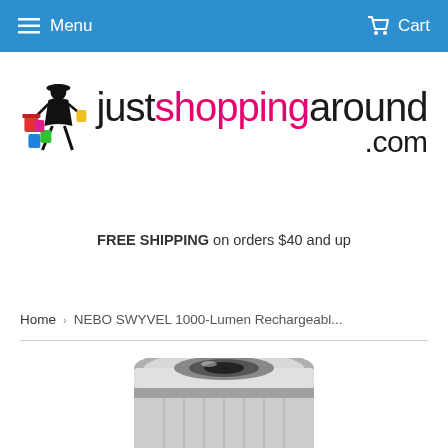Menu  Cart
[Figure (logo): justshoppingaround.com logo with illustrated shopping figure and brand name in black and pink text]
FREE SHIPPING on orders $40 and up
Home › NEBO SWYVEL 1000-Lumen Rechargeabl...
[Figure (photo): Partial product photo of NEBO SWYVEL 1000-Lumen Rechargeable flashlight, silver/chrome colored, viewed from top/angle]